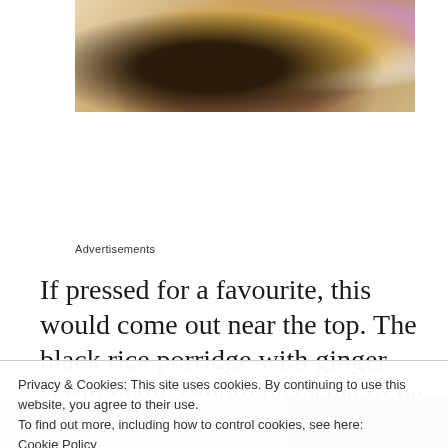[Figure (photo): Close-up photo of a food dish — black rice porridge with banana slices, whipped cream, purple flower petals, and granola on a light-colored plate]
Advertisements
If pressed for a favourite, this would come out near the top. The black rice porridge with ginger syrup really should be tasted to be
Privacy & Cookies: This site uses cookies. By continuing to use this website, you agree to their use.
To find out more, including how to control cookies, see here:
Cookie Policy
Close and accept
[Figure (photo): Bottom portion of another food photo showing plates and cups on a table]